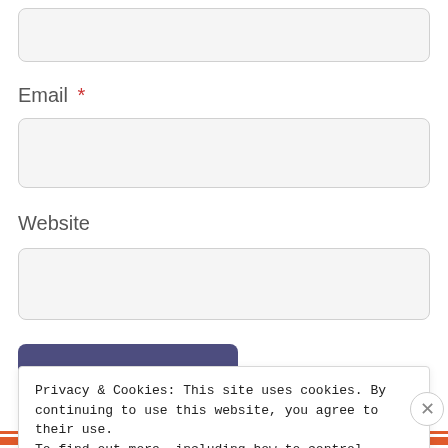[Figure (screenshot): A partially visible text input field at the top of a web form]
Email *
[Figure (screenshot): Email input field (empty, light grey background, rounded corners)]
Website
[Figure (screenshot): Website input field (empty, light grey background, rounded corners)]
POST COMMENT
Privacy & Cookies: This site uses cookies. By continuing to use this website, you agree to their use.
To find out more, including how to control cookies, see here:
Cookie Policy
Close and accept